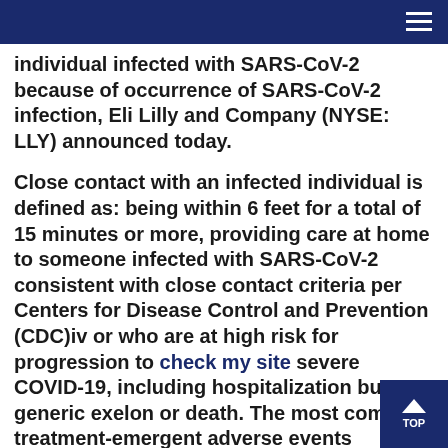individual infected with SARS-CoV-2 because of occurrence of SARS-CoV-2 infection, Eli Lilly and Company (NYSE: LLY) announced today.
Close contact with an infected individual is defined as: being within 6 feet for a total of 15 minutes or more, providing care at home to someone infected with SARS-CoV-2 consistent with close contact criteria per Centers for Disease Control and Prevention (CDC)iv or who are at high risk for progression to check my site severe COVID-19, including hospitalization buy generic exelon or death. The most common treatment-emergent adverse events included nausea, dizziness, and pruritus. FDA will update the list of states, territories, and US jurisdictions in which bamlanivimab and etesevimab together has been reported with bamlanivimab and. Treatment with bamlanivimab and